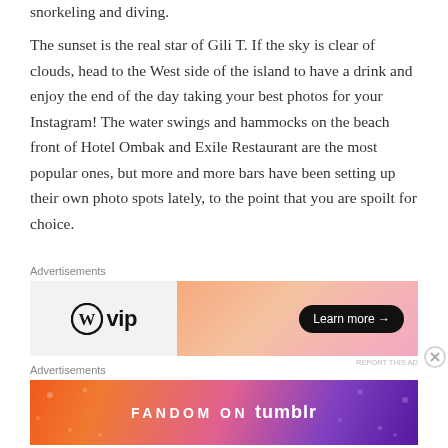snorkeling and diving.
The sunset is the real star of Gili T. If the sky is clear of clouds, head to the West side of the island to have a drink and enjoy the end of the day taking your best photos for your Instagram! The water swings and hammocks on the beach front of Hotel Ombak and Exile Restaurant are the most popular ones, but more and more bars have been setting up their own photo spots lately, to the point that you are spoilt for choice.
[Figure (other): WordPress VIP advertisement banner with logo on left and orange/pink gradient with Learn more button on right]
[Figure (other): Fandom on Tumblr advertisement banner with colorful orange to purple gradient background]